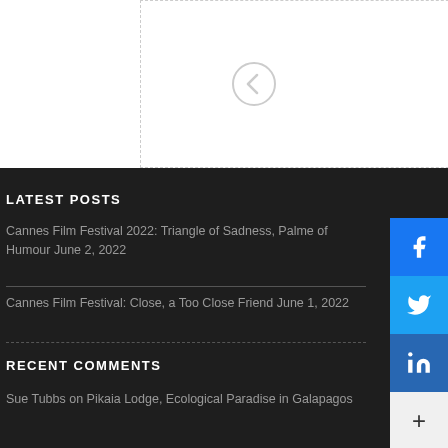[Figure (screenshot): Carousel navigation area with left and right arrow buttons on white background with dashed border]
LATEST POSTS
Cannes Film Festival 2022: Triangle of Sadness, Palme of Humour June 2, 2022
Cannes Film Festival: Close, a Too Close Friend June 1, 2022
RECENT COMMENTS
Sue Tubbs on Pikaia Lodge, Ecological Paradise in Galapagos
[Figure (screenshot): Social sharing sidebar with Facebook, Twitter, LinkedIn, and more buttons]